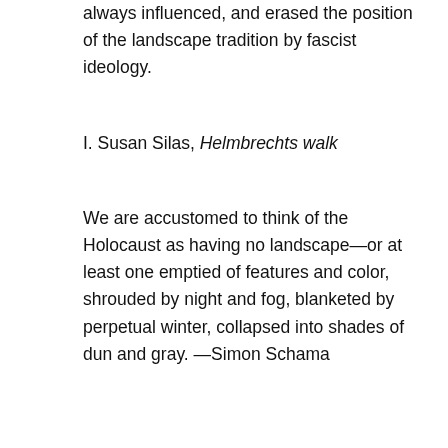always influenced, and erased the position of the landscape tradition by fascist ideology.
I. Susan Silas, Helmbrechts walk
We are accustomed to think of the Holocaust as having no landscape—or at least one emptied of features and color, shrouded by night and fog, blanketed by perpetual winter, collapsed into shades of dun and gray. —Simon Schama
Susan Silas was born in the US in 1953 to Jewish-Hungarian Holocaust survivors; she now lives and works in New York, and continues to be deeply interested in the Holocaust, producing, among many other works, photographs of former concentration camps, response pieces to the German artist Anselm